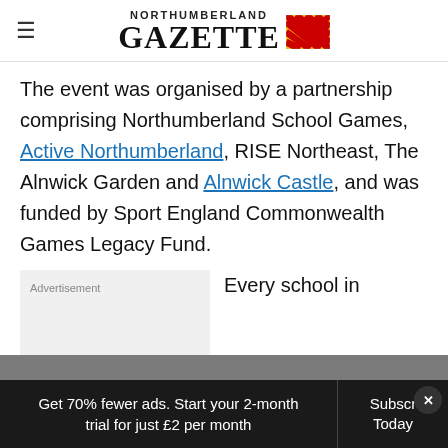NORTHUMBERLAND GAZETTE
The event was organised by a partnership comprising Northumberland School Games, Active Northumberland, RISE Northeast, The Alnwick Garden and Alnwick Castle, and was funded by Sport England Commonwealth Games Legacy Fund.
Every school in
Get 70% fewer ads. Start your 2-month trial for just £2 per month  Subscribe Today